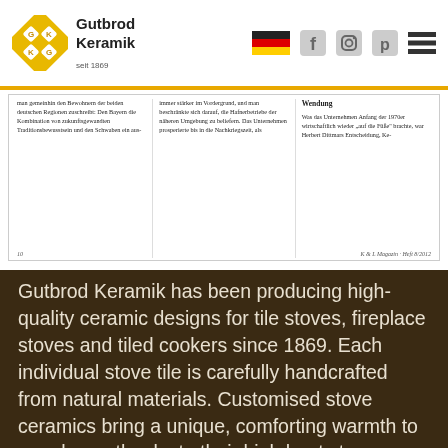Gutbrod Keramik — navigation header with logo, German flag, social icons
[Figure (screenshot): Scanned magazine article snippet showing multi-column German text, page number 10, and K & L Magazin Heft 8/2012 footer]
Gutbrod Keramik has been producing high-quality ceramic designs for tile stoves, fireplace stoves and tiled cookers since 1869. Each individual stove tile is carefully handcrafted from natural materials. Customised stove ceramics bring a unique, comforting warmth to your home thanks to their high heat storage capacity.